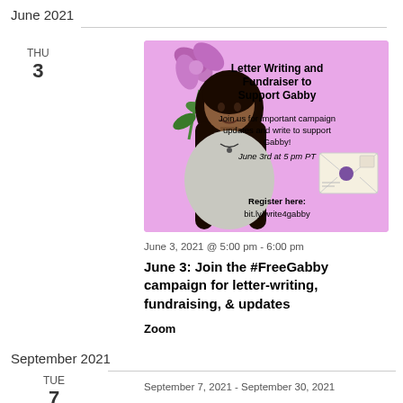June 2021
THU
3
[Figure (illustration): Pink promotional flyer for 'Letter Writing and Fundraiser to Support Gabby' event. Features an illustrated young woman with long dark hair and a floral illustration, along with an envelope graphic. Text: 'Join us for important campaign updates and write to support Gabby! June 3rd at 5 pm PT. Register here: bit.ly/write4gabby']
June 3, 2021 @ 5:00 pm - 6:00 pm
June 3: Join the #FreeGabby campaign for letter-writing, fundraising, & updates
Zoom
September 2021
TUE
7
September 7, 2021 - September 30, 2021